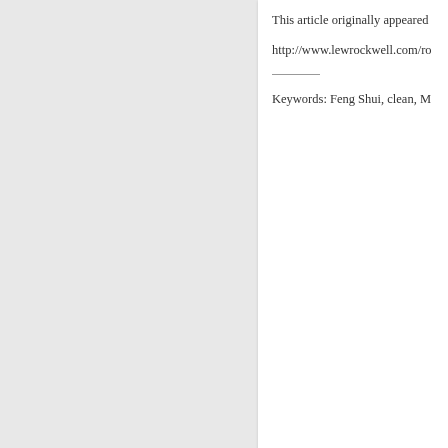This article originally appeared
http://www.lewrockwell.com/ro
________
Keywords: Feng Shui, clean, M
It's All a Part of the Journe
I have a friend who is a multi-m He is a great inspiration… He a man business cyclone! He work work.
"Rick" (not his real name) is th people who seem to hate him (h